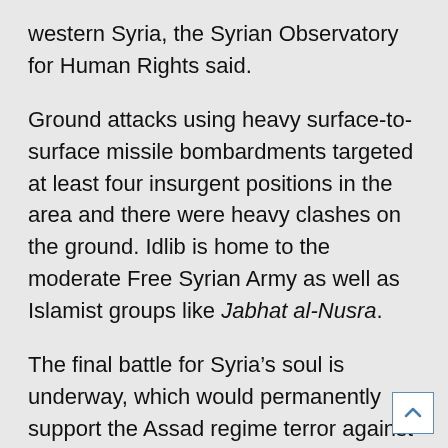western Syria, the Syrian Observatory for Human Rights said.
Ground attacks using heavy surface-to-surface missile bombardments targeted at least four insurgent positions in the area and there were heavy clashes on the ground. Idlib is home to the moderate Free Syrian Army as well as Islamist groups like Jabhat al-Nusra.
The final battle for Syria’s soul is underway, which would permanently support the Assad regime terror against his own people and neighboring countries. .